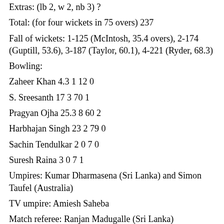Extras: (lb 2, w 2, nb 3) ?
Total: (for four wickets in 75 overs) 237
Fall of wickets: 1-125 (McIntosh, 35.4 overs), 2-174 (Guptill, 53.6), 3-187 (Taylor, 60.1), 4-221 (Ryder, 68.3)
Bowling:
Zaheer Khan 4.3 1 12 0
S. Sreesanth 17 3 70 1
Pragyan Ojha 25.3 8 60 2
Harbhajan Singh 23 2 79 0
Sachin Tendulkar 2 0 7 0
Suresh Raina 3 0 7 1
Umpires: Kumar Dharmasena (Sri Lanka) and Simon Taufel (Australia)
TV umpire: Amiesh Saheba
Match referee: Ranjan Madugalle (Sri Lanka)